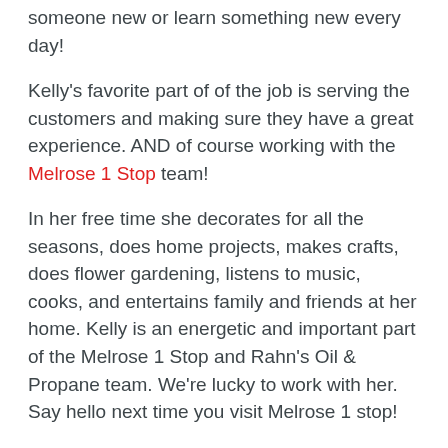someone new or learn something new every day!
Kelly's favorite part of of the job is serving the customers and making sure they have a great experience. AND of course working with the Melrose 1 Stop team!
In her free time she decorates for all the seasons, does home projects, makes crafts, does flower gardening, listens to music, cooks, and entertains family and friends at her home. Kelly is an energetic and important part of the Melrose 1 Stop and Rahn's Oil & Propane team. We're lucky to work with her. Say hello next time you visit Melrose 1 stop!
MELROSE 1 STOP